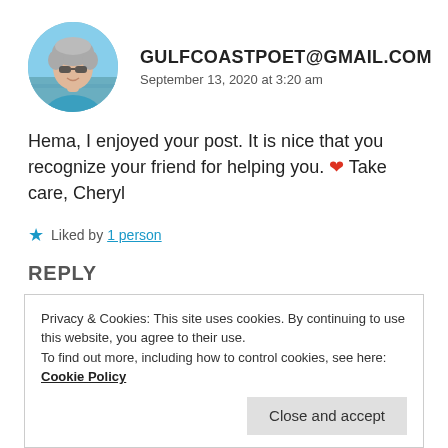[Figure (photo): Circular avatar photo of a woman with gray curly hair and sunglasses, wearing a blue top, with a beach/ocean background]
GULFCOASTPOET@GMAIL.COM
September 13, 2020 at 3:20 am
Hema, I enjoyed your post. It is nice that you recognize your friend for helping you. ❤ Take care, Cheryl
★ Liked by 1 person
REPLY
Privacy & Cookies: This site uses cookies. By continuing to use this website, you agree to their use.
To find out more, including how to control cookies, see here: Cookie Policy
Close and accept